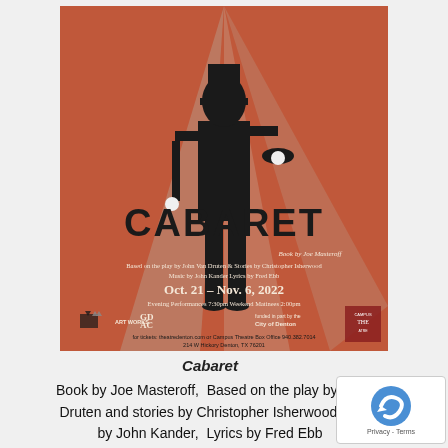[Figure (illustration): Theatrical poster for Cabaret musical on a rust/terracotta red background. Silhouette of a performer in a top hat and suit holding a cane, with spotlight beams behind. Large stylized 'CABARET' lettering. Text: Book by Joe Masteroff, Based on the play by John Van Druten & Stories by Christopher Isherwood, Music by John Kander Lyrics by Fred Ebb. Oct. 21 - Nov. 6, 2022. Evening Performances 7:30pm Weekend Matinees 2:00pm. Sponsor logos and contact info at bottom: theatredenton.com or Campus Theatre Box Office 940.382.7014, 214 W Hickory Denton, TX 76201.]
Cabaret
Book by Joe Masteroff, Based on the play by John Van Druten and stories by Christopher Isherwood, M... by John Kander, Lyrics by Fred Ebb